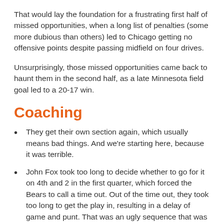That would lay the foundation for a frustrating first half of missed opportunities, when a long list of penalties (some more dubious than others) led to Chicago getting no offensive points despite passing midfield on four drives.
Unsurprisingly, those missed opportunities came back to haunt them in the second half, as a late Minnesota field goal led to a 20-17 win.
Coaching
They get their own section again, which usually means bad things. And we're starting here, because it was terrible.
John Fox took too long to decide whether to go for it on 4th and 2 in the first quarter, which forced the Bears to call a time out. Out of the time out, they took too long to get the play in, resulting in a delay of game and punt. That was an ugly sequence that was 100% the fault of the coaches. Then in the 2nd half,